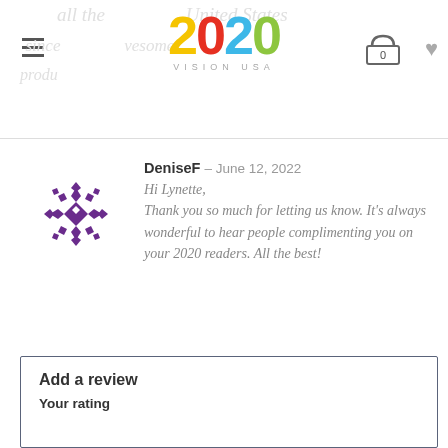2020 VISION USA
DeniseF – June 12, 2022
Hi Lynette,
Thank you so much for letting us know. It's always wonderful to hear people complimenting you on your 2020 readers. All the best!
Add a review
Your rating